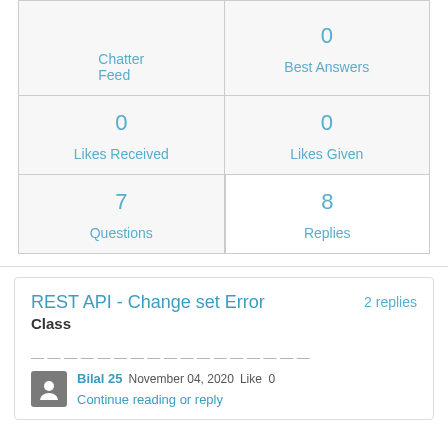| Chatter Feed | Best Answers |
| --- | --- |
| 0 | 0 |
| Likes Received | Likes Given |
| 7 | 8 |
| Questions | Replies |
REST API - Change set Error
Class

2 replies
Bilal 25  November 04, 2020  Like  0  Continue reading or reply